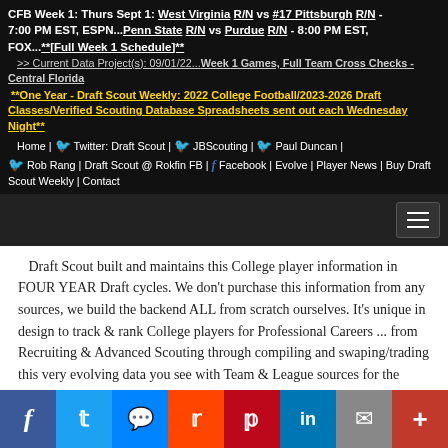CFB Week 1: Thurs Sept 1: West Virginia R/N vs #17 Pittsburgh R/N - 7:00 PM EST, ESPN...Penn State R/N vs Purdue R/N - 8:00 PM EST, FOX...**[Full Week 1 Schedule]** >> Current Data Project(s): 09/01/22...Week 1 Games, Full Team Cross Checks - Central Florida **One Year - Draft Scout Weekly: 2022 College Football/2023-2026 Draft Classes/Verified Scouting Database Spreadsheets sent out each Wednesday Night** Home | Twitter: Draft Scout | JBScouting | Paul Duncan | Rob Rang | Draft Scout @ Rokfin FB | Facebook | Evolve | Player News | Buy Draft Scout Weekly | Contact
Draft Scout built and maintains this College player information in FOUR YEAR Draft cycles. We don't purchase this information from any sources, we build the backend ALL from scratch ourselves. It's unique in design to track & rank College players for Professional Careers ... from Recruiting & Advanced Scouting through compiling and swaping/trading this very evolving data you see with Team & League sources for the current Draft season. It's a combination of what we know and think with who we know and what they think, all